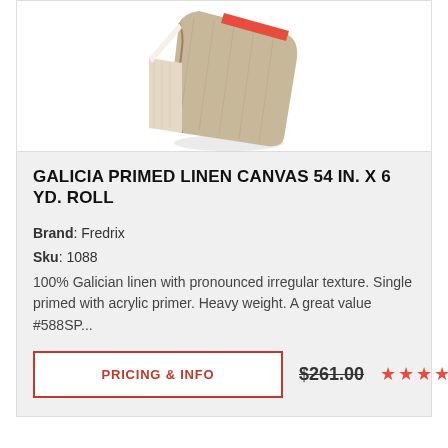[Figure (photo): Canvas roll of linen fabric, beige/tan color, partially unrolled showing texture, with red label visible at top]
GALICIA PRIMED LINEN CANVAS 54 IN. X 6 YD. ROLL
Brand: Fredrix
Sku: 1088
100% Galician linen with pronounced irregular texture. Single primed with acrylic primer. Heavy weight. A great value #588SP...
PRICING & INFO   $261.00  ★★★★★